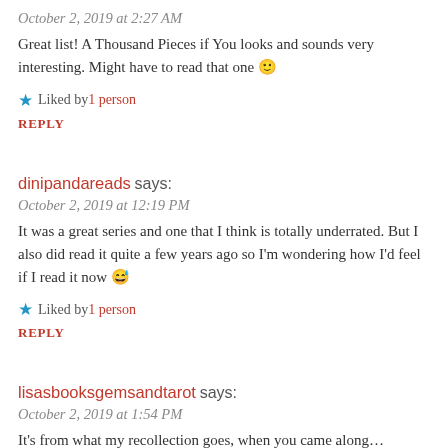October 2, 2019 at 2:27 AM
Great list! A Thousand Pieces if You looks and sounds very interesting. Might have to read that one 🙂
★ Liked by 1 person
REPLY
dinipandareads says:
October 2, 2019 at 12:19 PM
It was a great series and one that I think is totally underrated. But I also did read it quite a few years ago so I'm wondering how I'd feel if I read it now 😅
★ Liked by 1 person
REPLY
lisasbooksgemsandtarot says:
October 2, 2019 at 1:54 PM
It's from what my recollection goes, when you came along...